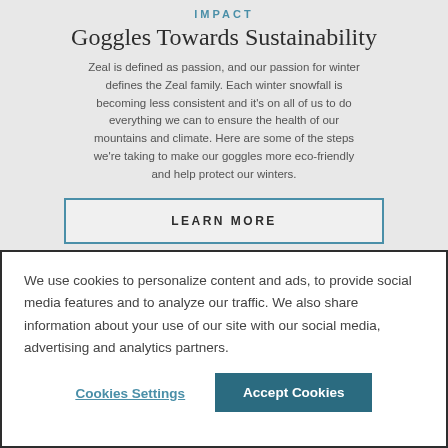IMPACT
Goggles Towards Sustainability
Zeal is defined as passion, and our passion for winter defines the Zeal family. Each winter snowfall is becoming less consistent and it's on all of us to do everything we can to ensure the health of our mountains and climate. Here are some of the steps we're taking to make our goggles more eco-friendly and help protect our winters.
LEARN MORE
We use cookies to personalize content and ads, to provide social media features and to analyze our traffic. We also share information about your use of our site with our social media, advertising and analytics partners.
Cookies Settings
Accept Cookies